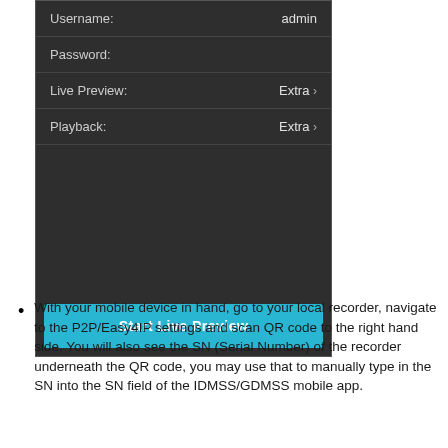[Figure (screenshot): Mobile app settings screen showing Username (admin), Password, Live Preview (Extra >), Playback (Extra >) fields on dark background, with a cyan 'Start Live Preview' button at the bottom.]
With your mobile device in hand, go to your local recorder, navigate to the P2P/Easy4IP settings and scan QR code to the right hand side. You will also see the SN (Serial Number) of the recorder underneath the QR code, you may use that to manually type in the SN into the SN field of the IDMSS/GDMSS mobile app.